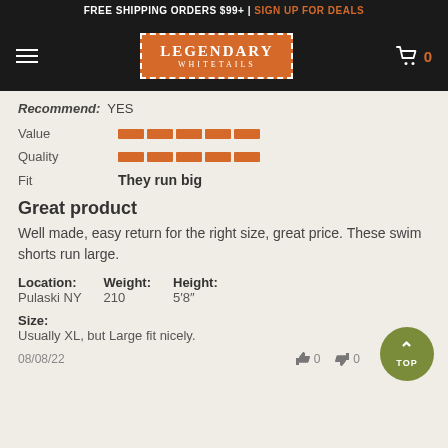FREE SHIPPING ORDERS $99+ | SIGN UP FOR DEALS
[Figure (logo): Legendary Whitetails logo on orange background with dashed border, navigation bar with hamburger menu and cart]
Recommend: YES
Value [rating bar]
Quality [rating bar]
Fit: They run big
Great product
Well made, easy return for the right size, great price. These swim shorts run large.
Location: Pulaski NY  Weight: 210  Height: 5'8"
Size: Usually XL, but Large fit nicely.
08/08/22